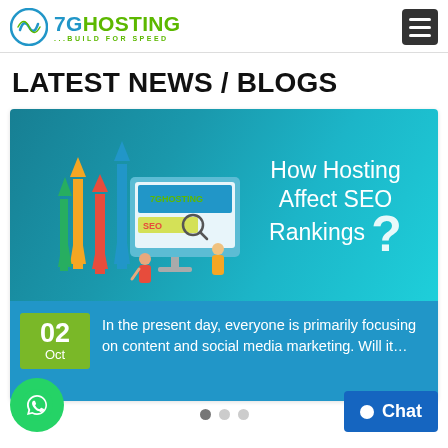7GHOSTING ...BUILD FOR SPEED
LATEST NEWS / BLOGS
[Figure (illustration): 7GHosting branded blog card banner showing a computer monitor with SEO search bar, arrows pointing upward, and text 'How Hosting Affect SEO Rankings?' on a teal/green gradient background]
In the present day, everyone is primarily focusing on content and social media marketing. Will it…
02 Oct